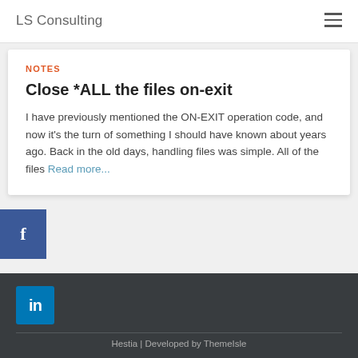LS Consulting
NOTES
Close *ALL the files on-exit
I have previously mentioned the ON-EXIT operation code, and now it's the turn of something I should have known about years ago. Back in the old days, handling files was simple. All of the files Read more...
Hestia | Developed by ThemeIsle